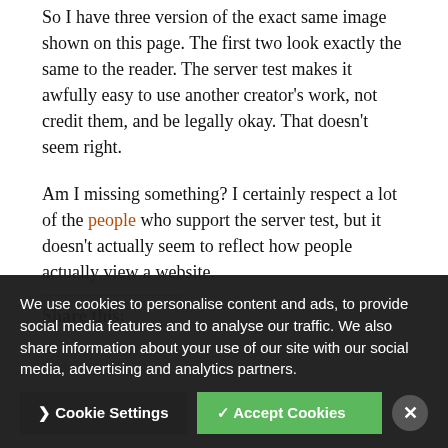So I have three version of the exact same image shown on this page. The first two look exactly the same to the reader. The server test makes it awfully easy to use another creator's work, not credit them, and be legally okay. That doesn't seem right.
Am I missing something? I certainly respect a lot of the people who support the server test, but it doesn't actually seem to reflect how people actually view a website.
Share this:
We use cookies to personalise content and ads, to provide social media features and to analyse our traffic. We also share information about your use of our site with our social media, advertising and analytics partners.